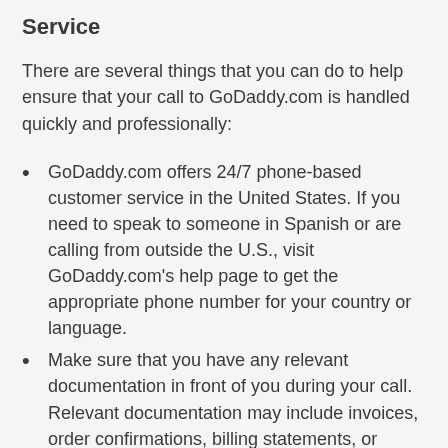Service
There are several things that you can do to help ensure that your call to GoDaddy.com is handled quickly and professionally:
GoDaddy.com offers 24/7 phone-based customer service in the United States. If you need to speak to someone in Spanish or are calling from outside the U.S., visit GoDaddy.com's help page to get the appropriate phone number for your country or language.
Make sure that you have any relevant documentation in front of you during your call. Relevant documentation may include invoices, order confirmations, billing statements, or communications between you and GoDaddy.com